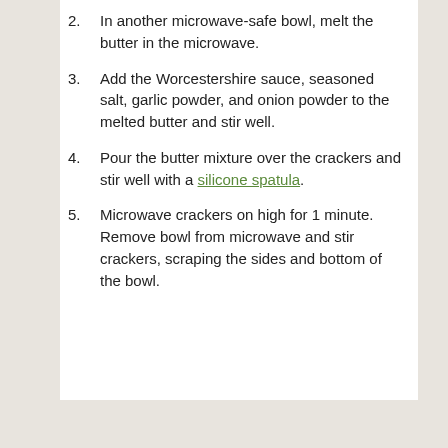2. In another microwave-safe bowl, melt the butter in the microwave.
3. Add the Worcestershire sauce, seasoned salt, garlic powder, and onion powder to the melted butter and stir well.
4. Pour the butter mixture over the crackers and stir well with a silicone spatula.
5. Microwave crackers on high for 1 minute. Remove bowl from microwave and stir crackers, scraping the sides and bottom of the bowl.